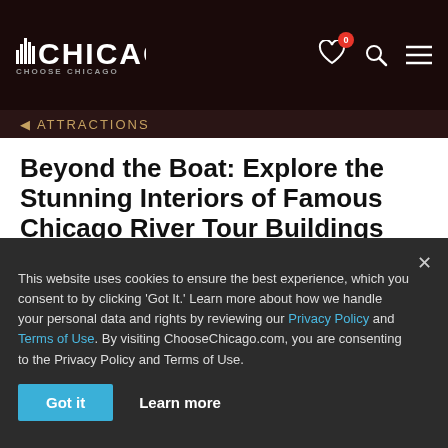CHICAGO CHOOSE CHICAGO
ATTRACTIONS
Beyond the Boat: Explore the Stunning Interiors of Famous Chicago River Tour Buildings
This 2-hour walking (not boat) tour shows you some of the best buildings along the Chicago River up close — taking you closer than any...
Event details
This website uses cookies to ensure the best experience, which you consent to by clicking 'Got It.' Learn more about how we handle your personal data and rights by reviewing our Privacy Policy and Terms of Use. By visiting ChooseChicago.com, you are consenting to the Privacy Policy and Terms of Use.
Got it  Learn more